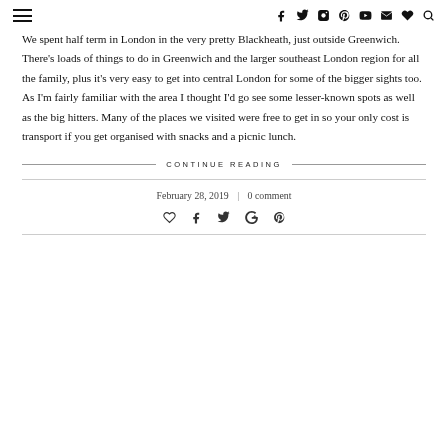≡ f y ◎ ℗ ▶ ✉ ♥ 🔍
We spent half term in London in the very pretty Blackheath, just outside Greenwich. There's loads of things to do in Greenwich and the larger southeast London region for all the family, plus it's very easy to get into central London for some of the bigger sights too. As I'm fairly familiar with the area I thought I'd go see some lesser-known spots as well as the big hitters. Many of the places we visited were free to get in so your only cost is transport if you get organised with snacks and a picnic lunch.
CONTINUE READING
February 28, 2019  |  0 comment
[Figure (other): Social share icons: heart, facebook, twitter, google+, pinterest]